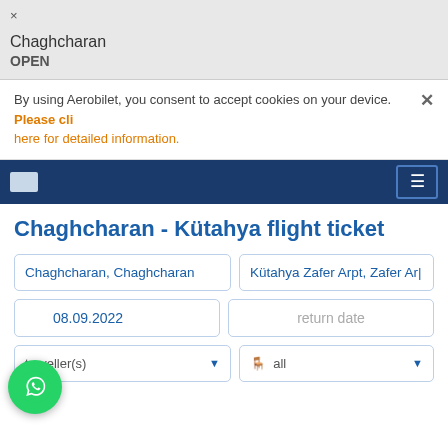×
Chaghcharan
OPEN
By using Aerobilet, you consent to accept cookies on your device. Please click here for detailed information.
[Figure (screenshot): Navigation bar with logo and hamburger menu on dark blue background]
Chaghcharan - Kütahya flight ticket
Chaghcharan, Chaghcharan
Kütahya Zafer Arpt, Zafer Ar...
08.09.2022
return date
traveller(s)
all